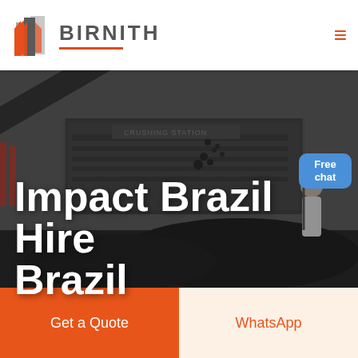[Figure (logo): Birnith company logo with orange building/construction icon and company name BIRNITH in dark grey letters with orange underline]
[Figure (photo): Industrial crushing station machinery with coal/rock material being processed, dark moody industrial background]
Impact Brazil Hire Brazil
[Figure (infographic): Blue rounded rectangle button with text Free chat and a customer service representative illustration]
Get a Quote
WhatsApp